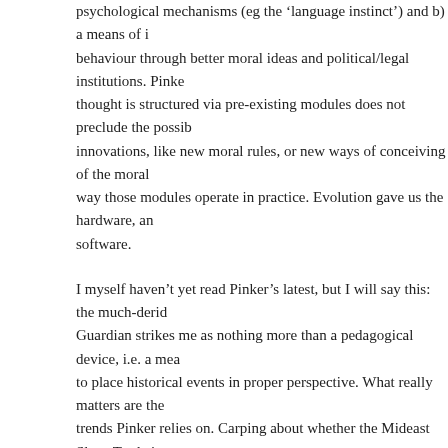psychological mechanisms (eg the 'language instinct') and b) a means of improving behaviour through better moral ideas and political/legal institutions. Pinker's thought is structured via pre-existing modules does not preclude the possibility of innovations, like new moral rules, or new ways of conceiving of the moral domain, way those modules operate in practice. Evolution gave us the hardware, and the software.
I myself haven't yet read Pinker's latest, but I will say this: the much-derided Guardian strikes me as nothing more than a pedagogical device, i.e. a means to place historical events in proper perspective. What really matters are the trends Pinker relies on. Carping about whether the Mideast Slave Trade is WWII is completely missing the point.
Substance McGravitas   10.16.11 at 9:52 pm
It is not, as one person suggested, a contradiction to suggest that there is a fixed, pan-species human nature, in the form of evolved psychological â€˜language instinctâ€™) and b) a means of improving human behaviour through better ideas and political/legal institutions.
What a novel and shocking idea to call a book with